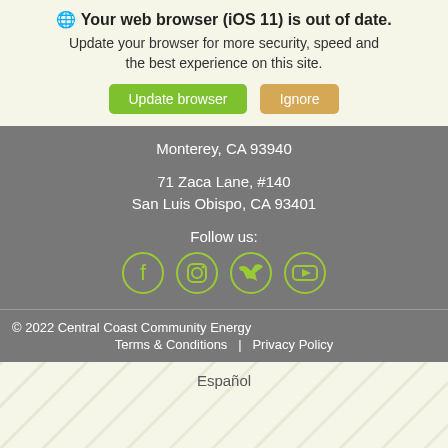🌐 Your web browser (iOS 11) is out of date. Update your browser for more security, speed and the best experience on this site.
Update browser | Ignore
Monterey, CA 93940
71 Zaca Lane, #140
San Luis Obispo, CA 93401
Follow us:
[Figure (illustration): Social media icons: Facebook, Instagram, Twitter, YouTube in green circles]
© 2022 Central Coast Community Energy
Terms & Conditions   |   Privacy Policy
Español